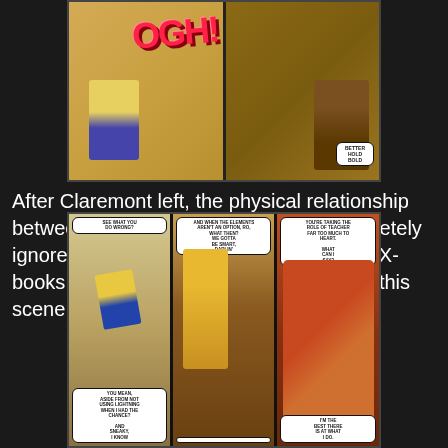[Figure (illustration): Comic book panels showing characters in action, with a pink 'OGH!' sound effect. Left panel shows figures in yellow and blue costumes, right panel shows figures in brown tones with a speech bubble.]
After Claremont left, the physical relationship between Storm and Wolverine was completely ignored, that is until Chris returned to the X-books for a third time in 2004 and we get this scene...
[Figure (illustration): Three comic book panels. Left panel: characters training, speech bubbles reading 'SEE WHAT YOU DO WRONG?' and 'YOU MEAN, ASIDE FROM NOT USING LIGHTNING WHEN I HAD THE CHANCE?' and 'AND SNEAKY, I KNOW'. Middle panel: close-up of male character face, speech bubbles reading 'AND WHEN THE ELEMENTS AREN'T AN OPTION, RO, WHAT THEN?' and 'WE GOTTA BE SMART, DARLIN''. Right panel: two characters kissing, speech bubbles reading 'YOU'RE TAKING THE ROLE OF TEACHER FAR TOO MUCH TO HEART.' and 'WHAT CAN I SAY?' and 'I'M THE BEST THERE IS AT WHAT I DO.']